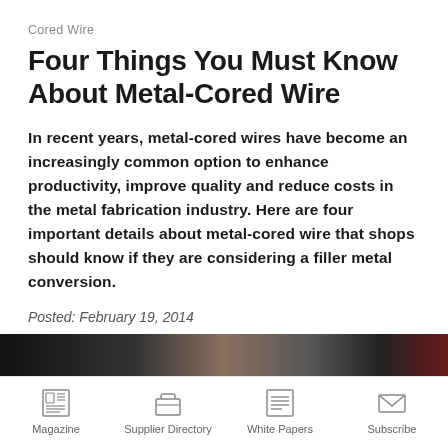Cored Wire
Four Things You Must Know About Metal-Cored Wire
In recent years, metal-cored wires have become an increasingly common option to enhance productivity, improve quality and reduce costs in the metal fabrication industry. Here are four important details about metal-cored wire that shops should know if they are considering a filler metal conversion.
Posted: February 19, 2014
[Figure (photo): Dark photo strip showing welding or metal fabrication scene]
Magazine | Supplier Directory | White Papers | Subscribe